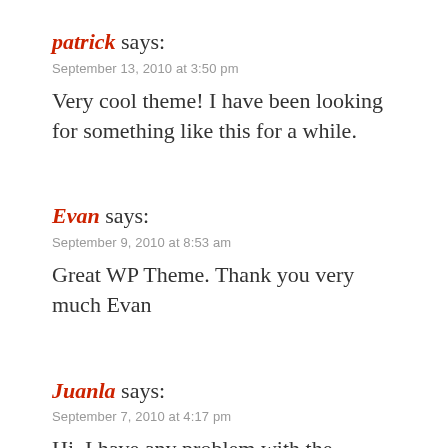patrick says:
September 13, 2010 at 3:50 pm
Very cool theme! I have been looking for something like this for a while.
Evan says:
September 9, 2010 at 8:53 am
Great WP Theme. Thank you very much Evan
Juanla says:
September 7, 2010 at 4:17 pm
Hi, I have any problem with the gallery images, i try add custom field called “image” and value “URL to image”, but the result is a blank image